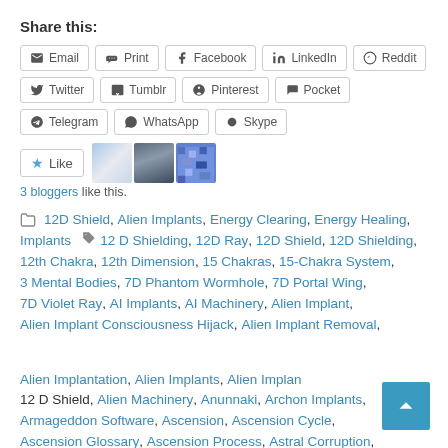Share this:
Email, Print, Facebook, LinkedIn, Reddit, Twitter, Tumblr, Pinterest, Pocket, Telegram, WhatsApp, Skype
[Figure (other): Like button with 3 blogger avatars]
3 bloggers like this.
12D Shield, Alien Implants, Energy Clearing, Energy Healing, Implants 12 D Shielding, 12D Ray, 12D Shield, 12D Shielding, 12th Chakra, 12th Dimension, 15 Chakras, 15-Chakra System, 3 Mental Bodies, 7D Phantom Wormhole, 7D Portal Wing, 7D Violet Ray, AI Implants, AI Machinery, Alien Implant, Alien Implant Consciousness Hijack, Alien Implant Removal, Alien Implantation, Alien Implants, Alien Implants 12 D Shield, Alien Machinery, Anunnaki, Archon Implants, Armageddon Software, Ascension, Ascension Cycle, Ascension Glossary, Ascension Process, Astral Corruption,